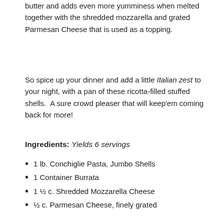butter and adds even more yumminess when melted together with the shredded mozzarella and grated Parmesan Cheese that is used as a topping.
So spice up your dinner and add a little Italian zest to your night, with a pan of these ricotta-filled stuffed shells.  A sure crowd pleaser that will keep'em coming back for more!
Ingredients: Yields 6 servings
1 lb. Conchiglie Pasta, Jumbo Shells
1 Container Burrata
1 ½ c. Shredded Mozzarella Cheese
½ c. Parmesan Cheese, finely grated